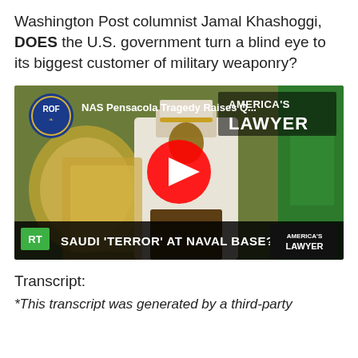Washington Post columnist Jamal Khashoggi, DOES the U.S. government turn a blind eye to its biggest customer of military weaponry?
[Figure (screenshot): YouTube video thumbnail from America's Lawyer / RT showing 'NAS Pensacola Tragedy Raises Q...' with title bar 'SAUDI \'TERROR\' AT NAVAL BASE?' and a large red YouTube play button overlay. Features a man in traditional Saudi dress against a green flag background.]
Transcript:
*This transcript was generated by a third-party